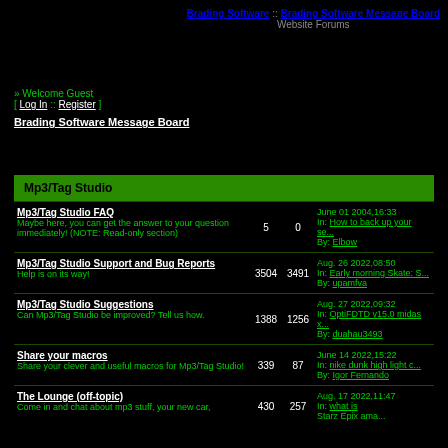Brading Software :: Brading Software Message Board
Website Forums
» Welcome Guest
[ Log In :: Register ]
Brading Software Message Board
Mp3/Tag Studio
| Forum | Topics | Posts | Last Post |
| --- | --- | --- | --- |
| Mp3/Tag Studio FAQ
Maybe here, you can get the answer to your question immediately! (NOTE: Read-only section) | 5 | 0 | June 01 2004,16:33
In: How to back up your se...
By: Elbow |
| Mp3/Tag Studio Support and Bug Reports
Help is on its way! | 3504 | 3491 | Aug. 26 2022,08:50
In: Early morning Skate: S...
By: upamfva |
| Mp3/Tag Studio Suggestions
Can Mp3/Tag Studio be improved? Tell us how. | 1388 | 1256 | Aug. 27 2022,09:32
In: OptiFDTD v15.0 midas x...
By: duahau3493 |
| Share your macros
Share your clever and useful macros for Mp3/Tag Studio! | 339 | 87 | June 14 2022,15:22
In: nike dunk high light c...
By: Igor Fernando |
| The Lounge (off-topic)
Come in and chat about mp3 stuff, your new car, | 430 | 257 | Aug. 17 2022,11:47
In: what is
Starz Epix ama... |